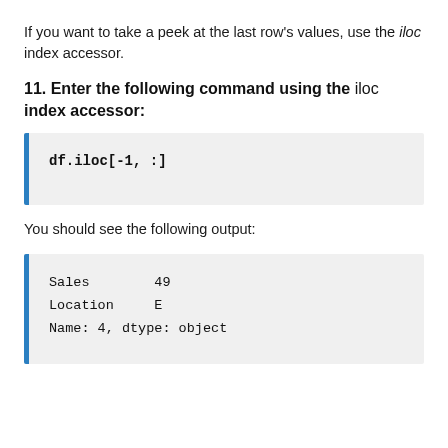If you want to take a peek at the last row's values, use the iloc index accessor.
11. Enter the following command using the iloc index accessor:
df.iloc[-1, :]
You should see the following output:
Sales        49
Location     E
Name: 4, dtype: object